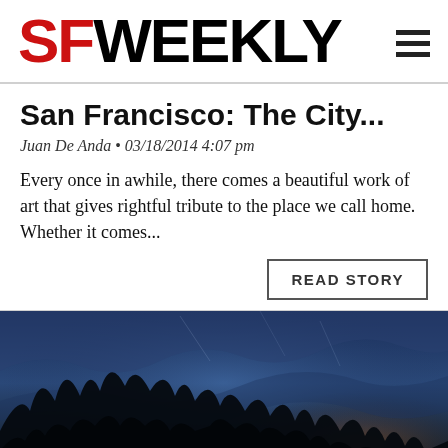SFWEEKLY
San Francisco: The City...
Juan De Anda • 03/18/2014 4:07 pm
Every once in awhile, there comes a beautiful work of art that gives rightful tribute to the place we call home. Whether it comes...
READ STORY
[Figure (photo): Dark atmospheric image with blue and dark tones, showing abstract cloudy or smoky forms, possibly a nighttime scene with trees or organic shapes silhouetted against a deep blue sky.]